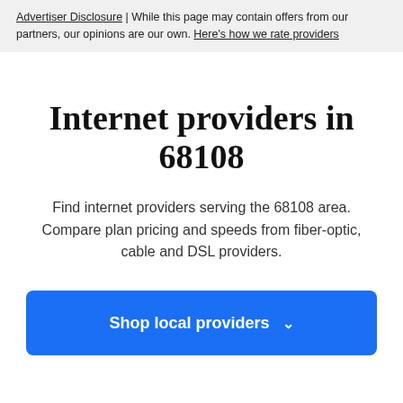Advertiser Disclosure | While this page may contain offers from our partners, our opinions are our own. Here's how we rate providers
Internet providers in 68108
Find internet providers serving the 68108 area. Compare plan pricing and speeds from fiber-optic, cable and DSL providers.
Shop local providers